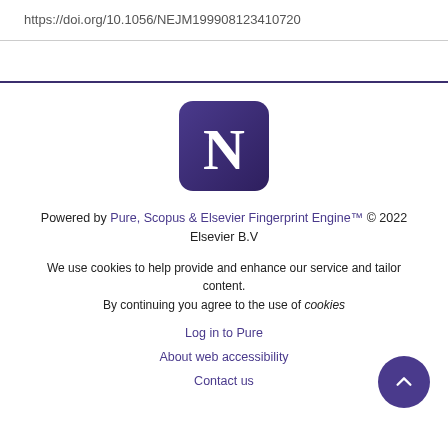https://doi.org/10.1056/NEJM199908123410720
[Figure (logo): Northwestern University 'N' logo in purple rounded square]
Powered by Pure, Scopus & Elsevier Fingerprint Engine™ © 2022 Elsevier B.V
We use cookies to help provide and enhance our service and tailor content. By continuing you agree to the use of cookies
Log in to Pure
About web accessibility
Contact us